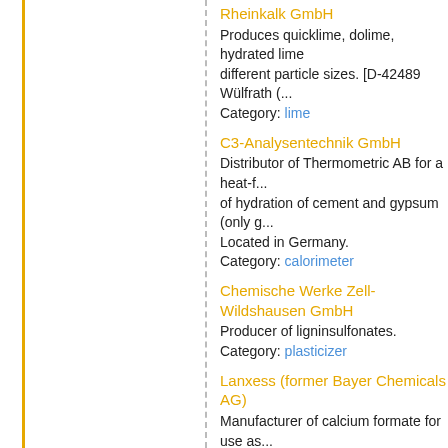Rheinkalk GmbH
Produces quicklime, dolime, hydrated lime different particle sizes. [D-42489 Wülfrath (...
Category: lime
C3-Analysentechnik GmbH
Distributor of Thermometric AB for a heat-f... of hydration of cement and gypsum (only g... Located in Germany.
Category: calorimeter
Chemische Werke Zell-Wildshausen GmbH
Producer of ligninsulfonates.
Category: plasticizer
Lanxess (former Bayer Chemicals AG)
Manufacturer of calcium formate for use as... Mebofix).
Category: set-accelerator
Rhewum GmbH
Manufacturer of screening machines, vibra... sorting machines.
Category: equipment
Wilhelm Kurz & Söhne GmbH & Co. KG
Manufacturer of silo systems.
Category: storage
Hercules Aqualon Div.